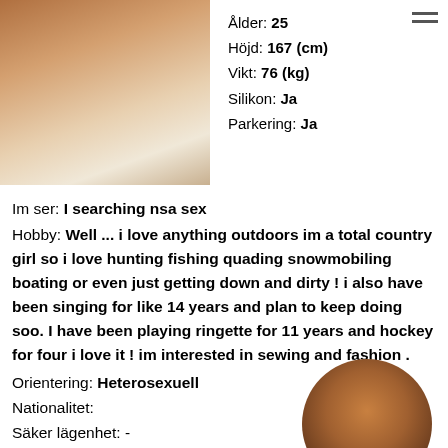[Figure (photo): Close-up photo of a person lying on white bedding, top left of page]
Ålder: 25
Höjd: 167 (cm)
Vikt: 76 (kg)
Silikon: Ja
Parkering: Ja
Im ser: I searching nsa sex
Hobby: Well ... i love anything outdoors im a total country girl so i love hunting fishing quading snowmobiling boating or even just getting down and dirty ! i also have been singing for like 14 years and plan to keep doing soo. I have been playing ringette for 11 years and hockey for four i love it ! im interested in sewing and fashion .
Orientering: Heterosexuell
Nationalitet:
Säker lägenhet: -
[Figure (photo): Circular cropped photo of a person's torso, bottom right area]
SERVICES: Sex & Massage Rollspell Striptease Lätt